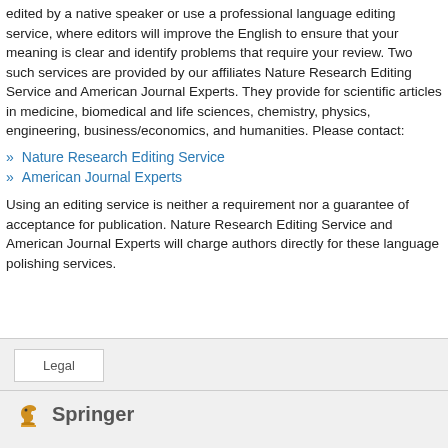edited by a native speaker or use a professional language editing service, where editors will improve the English to ensure that your meaning is clear and identify problems that require your review. Two such services are provided by our affiliates Nature Research Editing Service and American Journal Experts. They provide for scientific articles in medicine, biomedical and life sciences, chemistry, physics, engineering, business/economics, and humanities. Please contact:
» Nature Research Editing Service
» American Journal Experts
Using an editing service is neither a requirement nor a guarantee of acceptance for publication. Nature Research Editing Service and American Journal Experts will charge authors directly for these language polishing services.
Legal | Springer